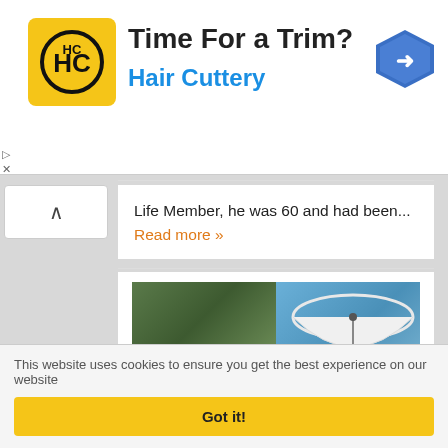[Figure (infographic): Advertisement banner for Hair Cuttery with logo, title 'Time For a Trim?' and subtitle 'Hair Cuttery' in blue, with a navigation arrow icon on the right]
Life Member, he was 60 and had been... Read more »
[Figure (photo): Image showing a man in camouflage hat smiling next to a large white satellite dish, with orange text overlay reading 'MEGA DISH!' and a news article icon at bottom left]
10 GHz EME dish!
This website uses cookies to ensure you get the best experience on our website
Got it!